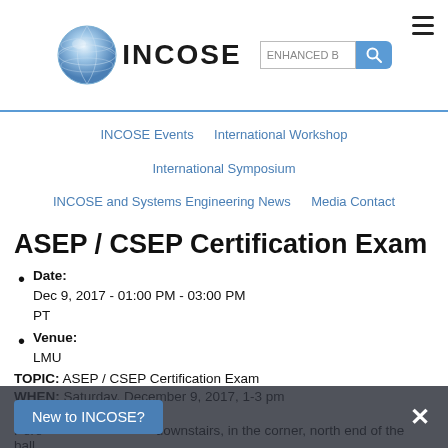[Figure (logo): INCOSE globe logo with text 'INCOSE', search bar with 'ENHANCED B' placeholder, and hamburger menu icon]
INCOSE Events   International Workshop   International Symposium   INCOSE and Systems Engineering News   Media Contact
ASEP / CSEP Certification Exam
Date: Dec 9, 2017 - 01:00 PM - 03:00 PM PT
Venue: LMU
TOPIC:  ASEP / CSEP Certification Exam
WHEN:  Saturday, December 9, 2017, 1-3 pm
WHERE: Pere... downstairs, in the corner, north end of the ball...
New to INCOSE?